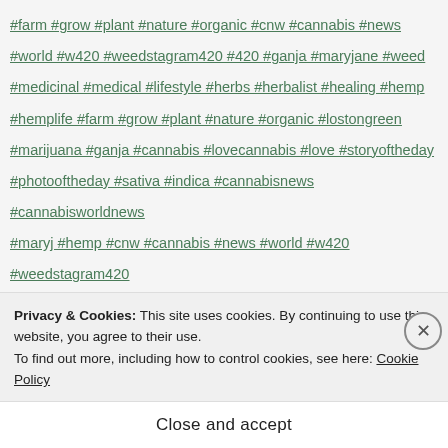#farm #grow #plant #nature #organic #cnw #cannabis #news #world #w420 #weedstagram420 #420 #ganja #maryjane #weed #medicinal #medical #lifestyle #herbs #herbalist #healing #hemp #hemplife #farm #grow #plant #nature #organic #lostongreen #marijuana #ganja #cannabis #lovecannabis #love #storyoftheday #photooftheday #sativa #indica #cannabisnews #cannabisworldnews #maryj #hemp #cnw #cannabis #news #world #w420 #weedstagram420 #420 #ganj #whatsinmyweed $1WEED 0.3% THC 1st november cannabis 4:20 what is it 5 Star Movement 11-year-old Billy Caldwell could expect to almost die. Thirty times a month 19th hole 63 per cent of Londoners think UK should follow Canada and make drug legal 420
420 Eata Pale Ale 420 news 420WORLD 710 Grower
Privacy & Cookies: This site uses cookies. By continuing to use this website, you agree to their use. To find out more, including how to control cookies, see here: Cookie Policy
Close and accept